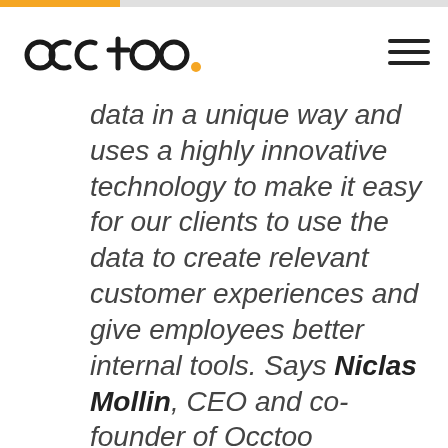Occtoo
data in a unique way and uses a highly innovative technology to make it easy for our clients to use the data to create relevant customer experiences and give employees better internal tools. Says Niclas Mollin, CEO and co-founder of Occtoo